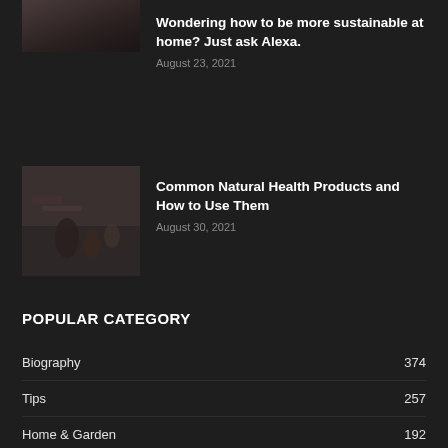[Figure (photo): Partial photo visible at top, dark toned image cropped at top of page]
Wondering how to be more sustainable at home? Just ask Alexa.
August 23, 2021
[Figure (photo): Photo of hands on a table with natural health products including small bottles and candles, dark toned]
Common Natural Health Products and How to Use Them
August 30, 2021
POPULAR CATEGORY
| Category | Count |
| --- | --- |
| Biography | 374 |
| Tips | 257 |
| Home & Garden | 192 |
| business | 145 |
| health | 125 |